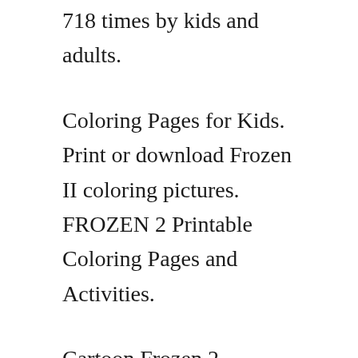718 times by kids and adults.
Coloring Pages for Kids. Print or download Frozen II coloring pictures. FROZEN 2 Printable Coloring Pages and Activities.
Cartoon Frozen 2 continues the adventure of your favorite characters from the famous animated fairy tale Disneys Frozen. Elsa Blonde Blue Eyes. Together with Anna Kristoff Olaf and Sven she goes on an adventurous but remarkable journey.
I was blessed to take my daughter Imonni to